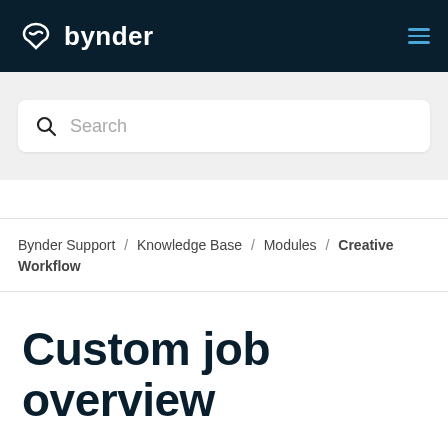bynder
[Figure (screenshot): Search bar with magnifying glass icon and placeholder text 'Search' on a light gray background]
Bynder Support / Knowledge Base / Modules / Creative Workflow
Custom job overview
The default job overview screen presents you with